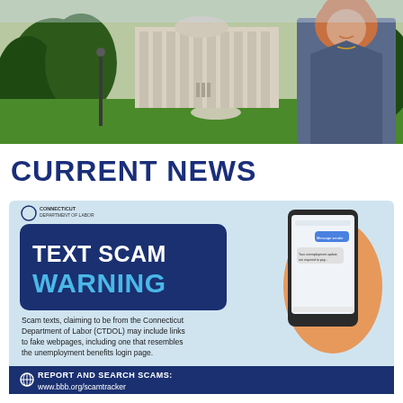[Figure (photo): Banner photo of a woman with auburn hair in a dark blazer standing outdoors in front of a fountain and government building, with green trees in the background.]
CURRENT NEWS
[Figure (infographic): Connecticut Department of Labor Text Scam Warning infographic. Blue banner reading 'TEXT SCAM WARNING'. Body text: 'Scam texts, claiming to be from the Connecticut Department of Labor (CTDOL) may include links to fake webpages, including one that resembles the unemployment benefits login page.' Bottom blue banner: 'REPORT AND SEARCH SCAMS:' with www.bbb.org/scamtracker URL. Illustration of a hand holding a smartphone with a text message on screen.]